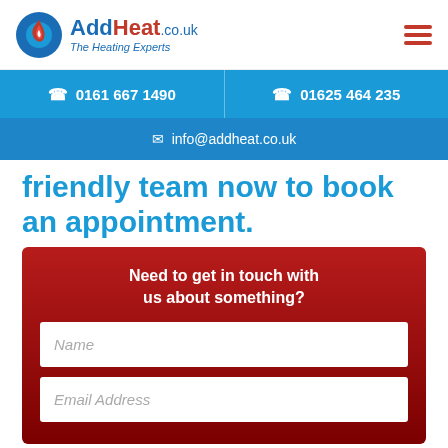[Figure (logo): AddHeat.co.uk logo with flame icon and tagline 'The Heating Experts']
0161 667 1490
01625 464 235
info@addheat.co.uk
friendly team now to book an appointment.
Need to get in touch with us about something?
Name
Email Address